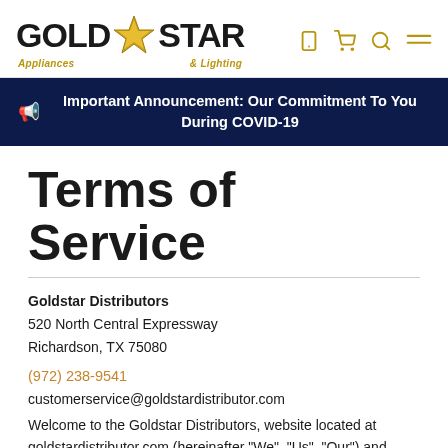Gold Star Appliances & Lighting — logo and navigation
Important Announcement: Our Commitment To You During COVID-19
Terms of Service
Goldstar Distributors
520 North Central Expressway
Richardson, TX 75080
(972) 238-9541
customerservice@goldstardistributor.com
Welcome to the Goldstar Distributors, website located at goldstardistributor.com (hereinafter "We", "Us", "Our") and thank You (any visitor to Our web site) for considering Our products and